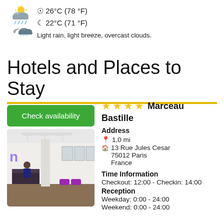[Figure (infographic): Weather icons: sun/cloud icon for daytime 26°C (78°F), moon/rain cloud icon for nighttime 22°C (71°F)]
26°C (78 °F)
22°C (71 °F)
Light rain, light breeze, overcast clouds.
Hotels and Places to Stay
Check availability
[Figure (photo): Hotel lobby interior with reception desk, modern decor, purple seating]
★★★★ Marceau Bastille
Address
1,0 mi
13 Rue Jules Cesar
75012 Paris
France
Time Information
Checkout: 12:00 - Checkin: 14:00
Reception
Weekday: 0:00 - 24:00
Weekend: 0:00 - 24:00